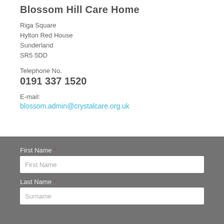Blossom Hill Care Home
Riga Square
Hylton Red House
Sunderland
SR5 5DD
Telephone No.
0191 337 1520
E-mail:
blossom.admin@crystalcare.org.uk
First Name *
Last Name *